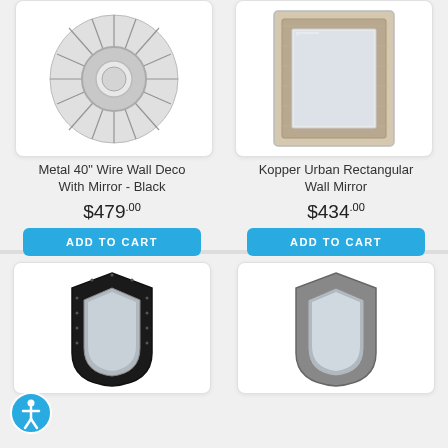[Figure (photo): Circular metal wire wall decoration with mirror center, black color]
Metal 40" Wire Wall Deco With Mirror - Black
$479.00
ADD TO CART
[Figure (photo): Kopper Urban Rectangular Wall Mirror with light wood grain frame]
Kopper Urban Rectangular Wall Mirror
$434.00
ADD TO CART
[Figure (photo): Shield-shaped wall mirror with dark upholstered frame and nailhead trim]
[Figure (photo): Shield-shaped wall mirror with grey upholstered frame]
[Figure (illustration): Accessibility icon button (person in circle)]